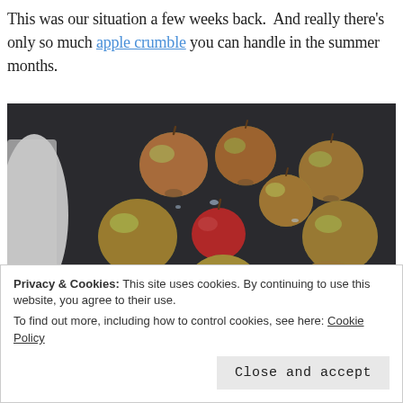This was our situation a few weeks back.  And really there's only so much apple crumble you can handle in the summer months.
[Figure (photo): A collection of small red and green apples scattered on a dark slate surface, with a white fabric or bag visible on the left side.]
Privacy & Cookies: This site uses cookies. By continuing to use this website, you agree to their use. To find out more, including how to control cookies, see here: Cookie Policy
Close and accept